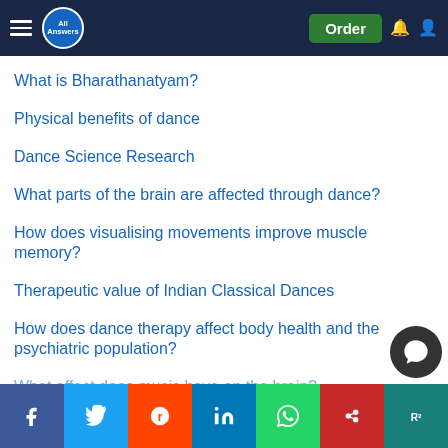All Answers — Order
What is Bharathanatyam?
Physical benefits of dance
Dance Science Research
What parts of the brain are affected through dance?
How does visualising movements improve muscle memory?
Therapeutic value of Indian Classical Dances
How does dance therapy affect body health and the psychiatric population?
What effect does music have on the brain?
How does other forms of dance and exercise affect the
[Figure (infographic): Social sharing bar with Facebook, Twitter, Reddit, LinkedIn, WhatsApp, Mendeley, ResearchGate icons]